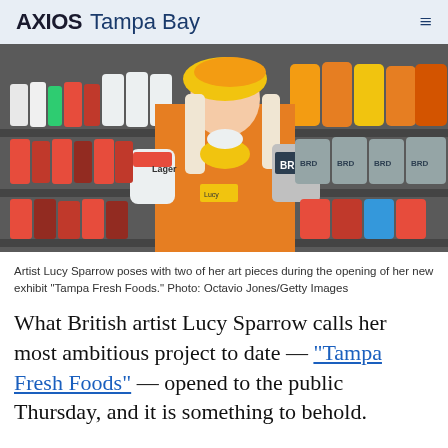AXIOS Tampa Bay
[Figure (photo): Woman in orange outfit and yellow beret holding two beverage products in front of store shelves stocked with various bottles and cans]
Artist Lucy Sparrow poses with two of her art pieces during the opening of her new exhibit "Tampa Fresh Foods." Photo: Octavio Jones/Getty Images
What British artist Lucy Sparrow calls her most ambitious project to date — "Tampa Fresh Foods" — opened to the public Thursday, and it is something to behold.